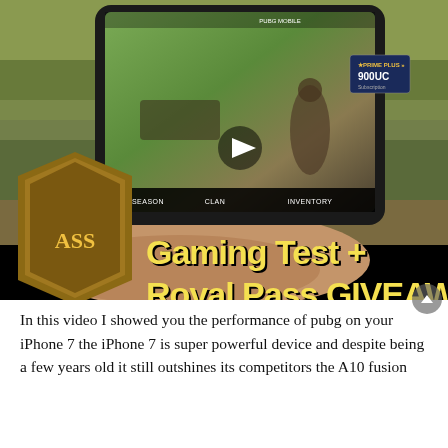[Figure (screenshot): Video thumbnail showing a PUBG Mobile gaming video titled 'Gaming Test + Royal Pass GIVEAWAY' with a phone being held displaying the game, and a Royal Pass shield badge on the left. A play button triangle is visible in the center of the image.]
In this video I showed you the performance of pubg on your iPhone 7 the iPhone 7 is super powerful device and despite being a few years old it still outshines its competitors the A10 fusion chip...